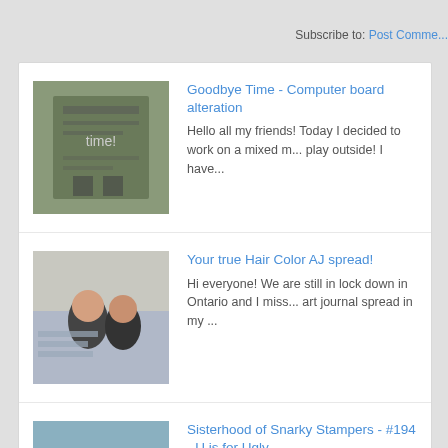Subscribe to: Post Comme...
Goodbye Time - Computer board alteration
Hello all my friends! Today I decided to work on a mixed m... play outside! I have...
Your true Hair Color AJ spread!
Hi everyone! We are still in lock down in Ontario and I miss... art journal spread in my ...
Sisterhood of Snarky Stampers - #194 - U is for Ugly
 Good Morning all my Snarky pals! Today Edna at Sisterh... challenge for us... U is for Ugly A H...